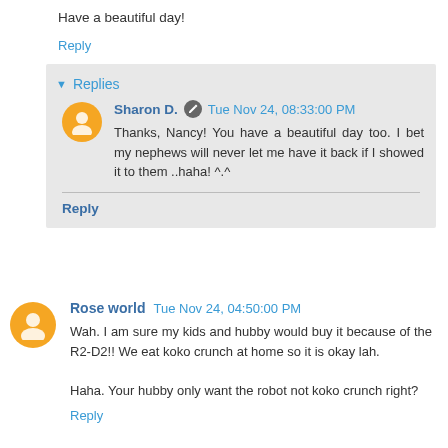Have a beautiful day!
Reply
Replies
Sharon D.  Tue Nov 24, 08:33:00 PM
Thanks, Nancy! You have a beautiful day too. I bet my nephews will never let me have it back if I showed it to them ..haha! ^.^
Reply
Rose world  Tue Nov 24, 04:50:00 PM
Wah. I am sure my kids and hubby would buy it because of the R2-D2!! We eat koko crunch at home so it is okay lah.

Haha. Your hubby only want the robot not koko crunch right?
Reply